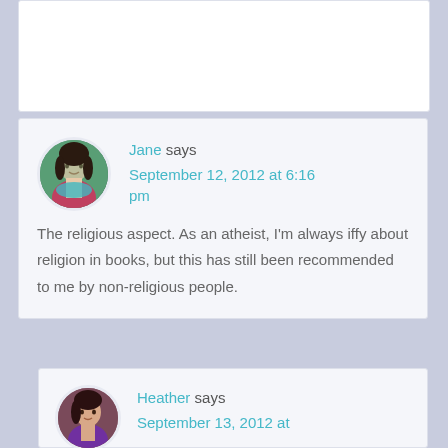[Figure (photo): Partial white comment card at top of page, mostly blank]
Jane says
September 12, 2012 at 6:16 pm
The religious aspect. As an atheist, I’m always iffy about religion in books, but this has still been recommended to me by non-religious people.
Heather says
September 13, 2012 at